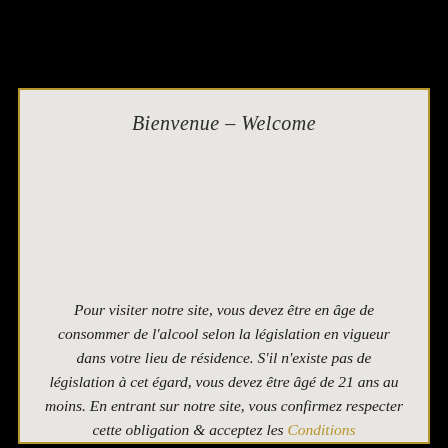Bienvenue – Welcome
Pour visiter notre site, vous devez être en âge de consommer de l'alcool selon la législation en vigueur dans votre lieu de résidence. S'il n'existe pas de législation à cet égard, vous devez être âgé de 21 ans au moins. En entrant sur notre site, vous confirmez respecter cette obligation & acceptez les Conditions